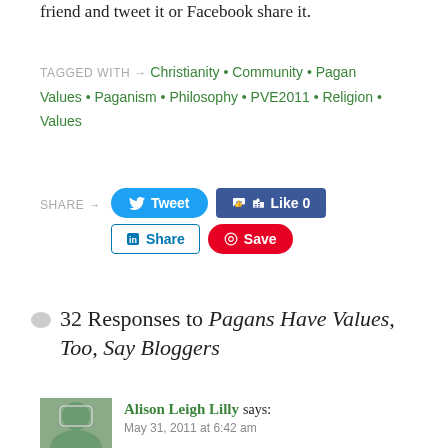friend and tweet it or Facebook share it.
TAGGED WITH → Christianity • Community • Pagan Values • Paganism • Philosophy • PVE2011 • Religion • Values
[Figure (screenshot): Social share buttons: Tweet (blue rounded), Like 0 (Facebook blue), Share (LinkedIn outlined), Save (Pinterest red)]
32 Responses to Pagans Have Values, Too, Say Bloggers
Alison Leigh Lilly says: May 31, 2011 at 6:42 am